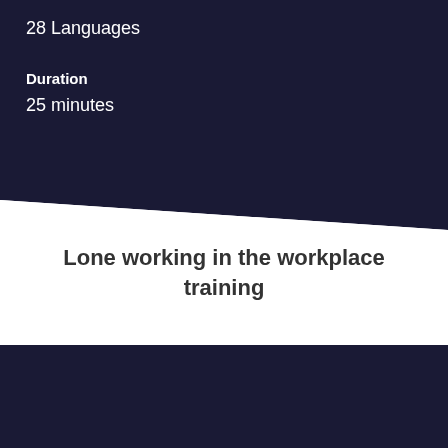28 Languages
Duration
25 minutes
Lone working in the workplace training
This website uses cookies to ensure you get the best experience on our website.
View our privacy policy
ACCEPT
DECLINE